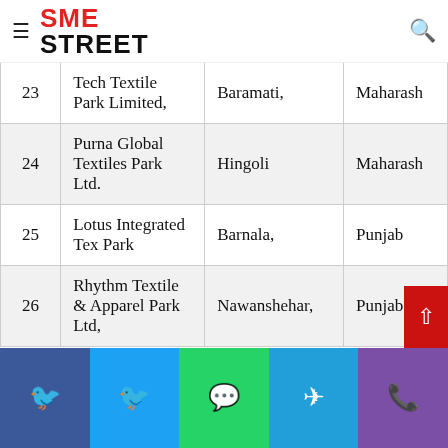SME STREET
| # | Name | Location | State |
| --- | --- | --- | --- |
| 23 | Tech Textile Park Limited, | Baramati, | Maharash |
| 24 | Purna Global Textiles Park Ltd. | Hingoli | Maharash |
| 25 | Lotus Integrated Tex Park | Barnala, | Punjab |
| 26 | Rhythm Textile & Apparel Park Ltd, | Nawanshehar, | Punjab |